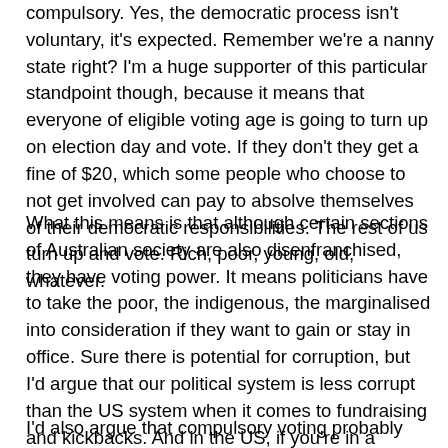compulsory. Yes, the democratic process isn't voluntary, it's expected. Remember we're a nanny state right? I'm a huge supporter of this particular standpoint though, because it means that everyone of eligible voting age is going to turn up on election day and vote. If they don't they get a fine of $20, which some people who choose to not get involved can pay to absolve themselves of their democratic responsibilities. The rest of us turn up and vote. Rich, poor, young, old, whatever.
What this means is that although certain sections of Australian society are also disenfranchised, they have voting power. It means politicians have to take the poor, the indigenous, the marginalised into consideration if they want to gain or stay in office. Sure there is potential for corruption, but I'd argue that our political system is less corrupt than the US system when it comes to fundraising and kickbacks. And in the US, if you're in a community that doesn't vote, you think the politicians are going to even bother campaigning in your area? No point right?
I'd also argue that compulsory voting probably forces people